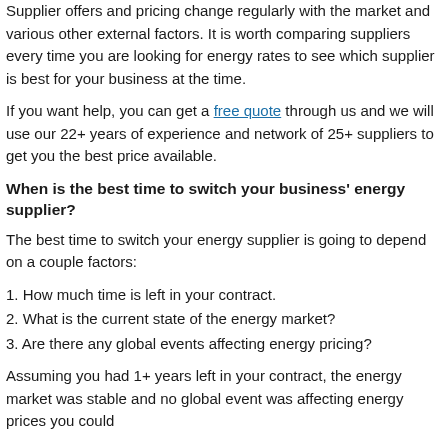Supplier offers and pricing change regularly with the market and various other external factors. It is worth comparing suppliers every time you are looking for energy rates to see which supplier is best for your business at the time.
If you want help, you can get a free quote through us and we will use our 22+ years of experience and network of 25+ suppliers to get you the best price available.
When is the best time to switch your business' energy supplier?
The best time to switch your energy supplier is going to depend on a couple factors:
1. How much time is left in your contract.
2. What is the current state of the energy market?
3. Are there any global events affecting energy pricing?
Assuming you had 1+ years left in your contract, the energy market was stable and no global event was affecting energy prices you could